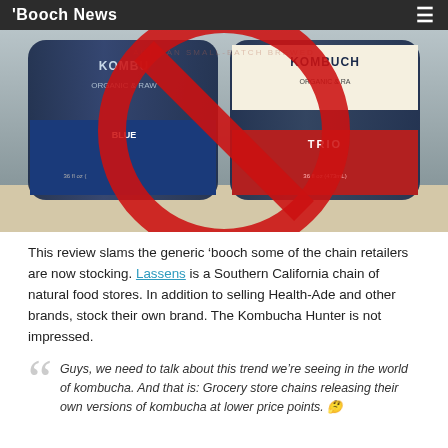'Booch News
[Figure (photo): Two bottles of Kombucha brand drinks (one blueberry flavor, one trio/citrus flavor) with a large red circle-slash prohibition symbol overlaid on them. Both bottles show 'KOMBUCHA ORGANIC & RAW' labels.]
This review slams the generic ‘booch some of the chain retailers are now stocking. Lassens is a Southern California chain of natural food stores. In addition to selling Health-Ade and other brands, stock their own brand. The Kombucha Hunter is not impressed.
Guys, we need to talk about this trend we’re seeing in the world of kombucha. And that is: Grocery store chains releasing their own versions of kombucha at lower price points. 🤔